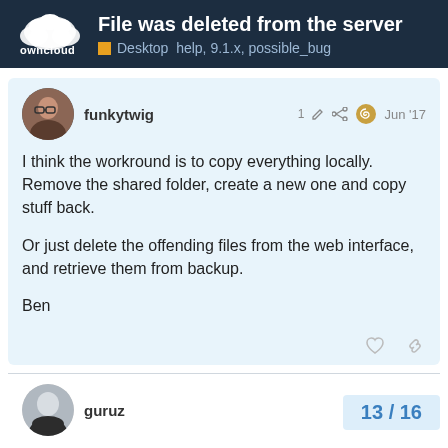File was deleted from the server | Desktop help, 9.1.x, possible_bug
funkytwig | 1 | Jun '17
I think the workround is to copy everything locally. Remove the shared folder, create a new one and copy stuff back.

Or just delete the offending files from the web interface, and retrieve them from backup.

Ben
guruz | Jul '17
All very likely to be
https://github.com/owncloud/core/issues/2…